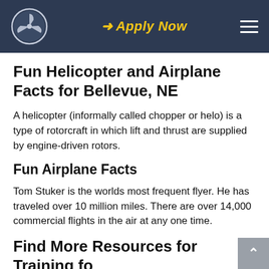Apply Now
Fun Helicopter and Airplane Facts for Bellevue, NE
A helicopter (informally called chopper or helo) is a type of rotorcraft in which lift and thrust are supplied by engine-driven rotors.
Fun Airplane Facts
Tom Stuker is the worlds most frequent flyer. He has traveled over 10 million miles. There are over 14,000 commercial flights in the air at any one time.
Find More Resources for Training for